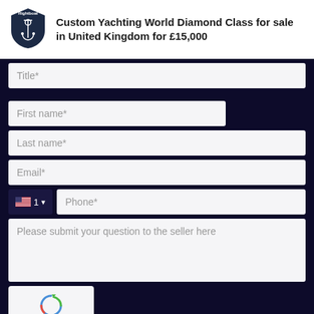[Figure (logo): Rightboat anchor shield logo in dark navy blue with white anchor icon and 'Rightboat' text]
Custom Yachting World Diamond Class for sale in United Kingdom for £15,000
Title*
First name*
Last name*
Email*
Phone*
Please submit your question to the seller here